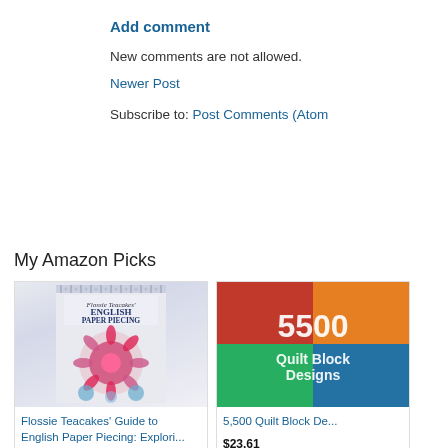Add comment
New comments are not allowed.
Newer Post
Subscribe to: Post Comments (Atom)
My Amazon Picks
[Figure (photo): Book cover: Flossie Teacakes' Guide to English Paper Piecing]
Flossie Teacakes' Guide to English Paper Piecing: Explori...
$20.49  $24.99  prime
[Figure (photo): Book cover: 5,500 Quilt Block Designs]
5,500 Quilt Block De...
$23.61